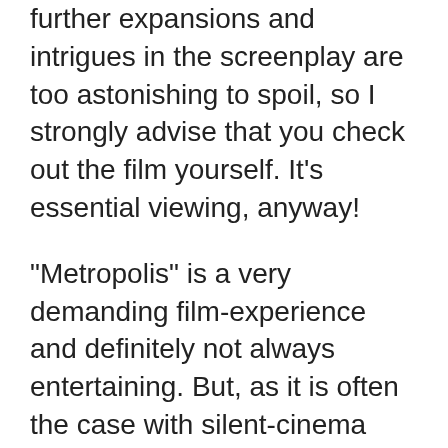further expansions and intrigues in the screenplay are too astonishing to spoil, so I strongly advise that you check out the film yourself. It’s essential viewing, anyway!
“Metropolis” is a very demanding film-experience and definitely not always entertaining. But, as it is often the case with silent-cinema classics, the respect and admiration you’ll develop during watching it will widely excel the enjoyment-aspect. Fritz’ brutal visual style still looks innovative and few directors since were able to re-create a similarly nightmarish composition of horizontal and vertical lines. Many